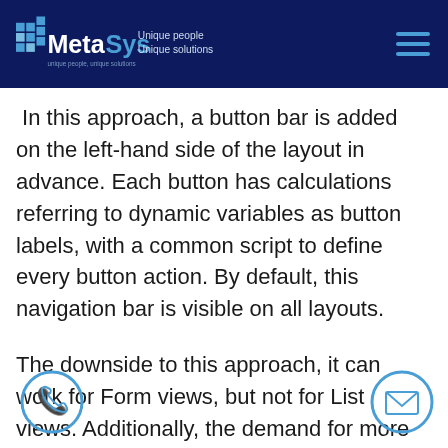MetaSys — Unique people Unique solutions
In this approach, a button bar is added on the left-hand side of the layout in advance. Each button has calculations referring to dynamic variables as button labels, with a common script to define every button action. By default, this navigation bar is visible on all layouts.
The downside to this approach, it can work for Form views, but not for List views. Additionally, the demand for more real estate in the layout of the application